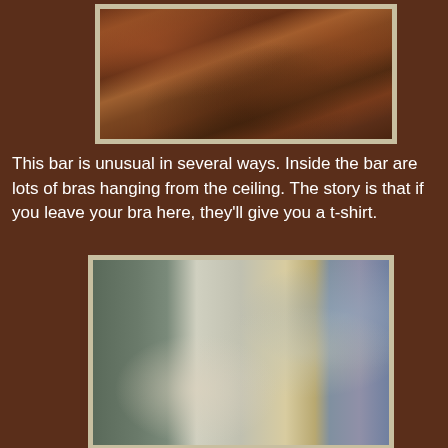[Figure (photo): Interior of a bar with bras hanging from the ceiling, Texas flag, hats, and various decorations visible]
This bar is unusual in several ways. Inside the bar are lots of bras hanging from the ceiling. The story is that if you leave your bra here, they'll give you a t-shirt.
[Figure (photo): A woman in a pink shirt and denim skirt standing next to a white horse with a saddle, outdoors at dusk]